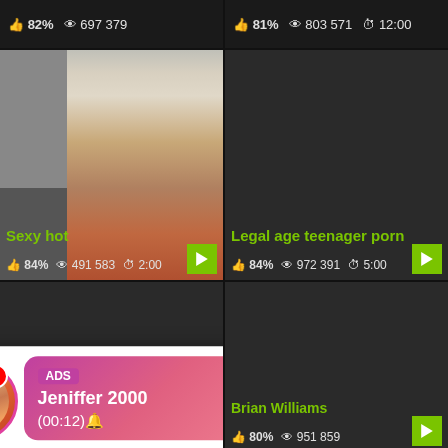82% 697 379
81% 803 571 12:00
[Figure (photo): Video thumbnail of person in shower/bathroom area]
[Figure (photo): Dark/blurred video thumbnail]
Sexy hot
84% 491 583 2:00
Legal age teenager porn
84% 972 391 5:00
[Figure (photo): Dark video thumbnail for Voyeur Japanese]
[Figure (photo): Dark video thumbnail for Brian Williams]
[Figure (infographic): Advertisement overlay with avatar, LIVE badge, notification dot, pink gradient box with ADS label, Jeniffer 2000, (00:12)]
Voyeur Japanese 98% 731 875 2:00
Brian Williams 80% 951 859